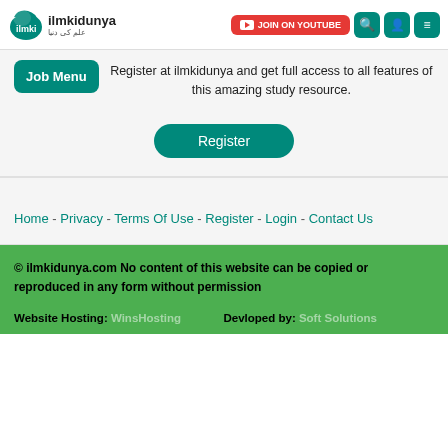ilmkidunya - JOIN ON YOUTUBE (navigation header)
Register at ilmkidunya and get full access to all features of this amazing study resource.
Job Menu
Register
Home - Privacy - Terms Of Use - Register - Login - Contact Us
© ilmkidunya.com No content of this website can be copied or reproduced in any form without permission
Website Hosting: WinsHosting    Devloped by: Soft Solutions